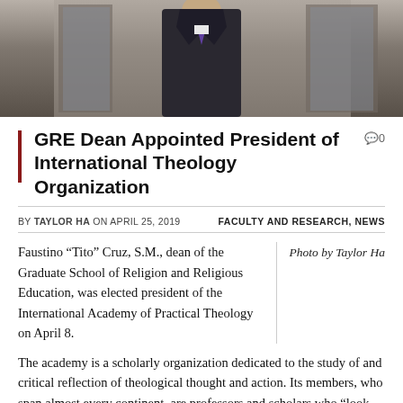[Figure (photo): Photo of a man in a dark suit standing in front of a building entrance]
GRE Dean Appointed President of International Theology Organization
0
BY TAYLOR HA ON APRIL 25, 2019    FACULTY AND RESEARCH, NEWS
Faustino “Tito” Cruz, S.M., dean of the Graduate School of Religion and Religious Education, was elected president of the International Academy of Practical Theology on April 8.
Photo by Taylor Ha
The academy is a scholarly organization dedicated to the study of and critical reflection of theological thought and action. Its members, who span almost every continent, are professors and scholars who “look deeply into the heart of our religious tradition